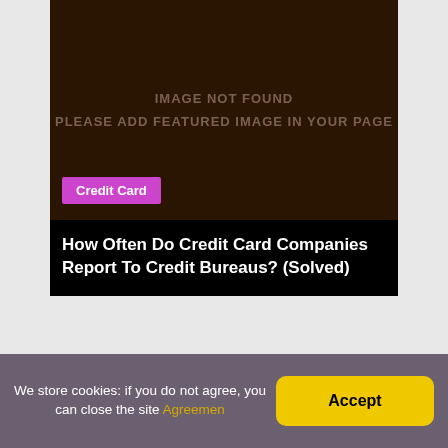[Figure (other): Dark brown placeholder image with text 'IMAGE NOT FOUND / PLEASE ADD FEATURED IMAGE IN YOUR PAGE']
Credit Card
How Often Do Credit Card Companies Report To Credit Bureaus? (Solved)
[Figure (other): Dark brown placeholder image area (second card, partially visible)]
We store cookies: if you do not agree, you can close the site Agreemen